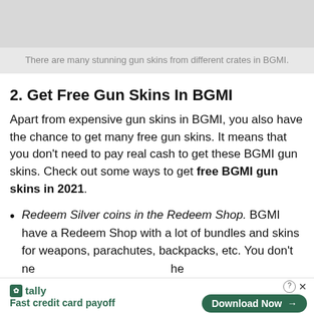[Figure (photo): Gray placeholder area for an image related to gun skins in BGMI]
There are many stunning gun skins from different crates in BGMI.
2. Get Free Gun Skins In BGMI
Apart from expensive gun skins in BGMI, you also have the chance to get many free gun skins. It means that you don't need to pay real cash to get these BGMI gun skins. Check out some ways to get free BGMI gun skins in 2021.
Redeem Silver coins in the Redeem Shop. BGMI have a Redeem Shop with a lot of bundles and skins for weapons, parachutes, backpacks, etc. You don't ne...he cu...lver